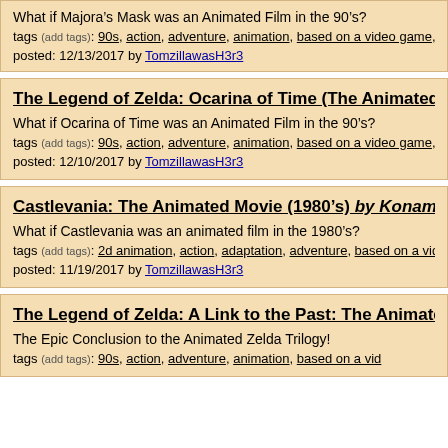What if Majora's Mask was an Animated Film in the 90's?
tags (add tags): 90s, action, adventure, animation, based on a video game, swords, the legend of zelda, videogame adaptation, zelda
posted: 12/13/2017 by TomzillawasH3r3
The Legend of Zelda: Ocarina of Time (The Animated Mov...
What if Ocarina of Time was an Animated Film in the 90's?
tags (add tags): 90s, action, adventure, animation, based on a video game, legend of zelda, videogame adaptation, zelda
posted: 12/10/2017 by TomzillawasH3r3
Castlevania: The Animated Movie (1980's) by Konami
What if Castlevania was an animated film in the 1980's?
tags (add tags): 2d animation, action, adaptation, adventure, based on a vid..., gothic horror, horror, konami, rotoscope animation, vampire, vampires
posted: 11/19/2017 by TomzillawasH3r3
The Legend of Zelda: A Link to the Past: The Animated Mo...
The Epic Conclusion to the Animated Zelda Trilogy!